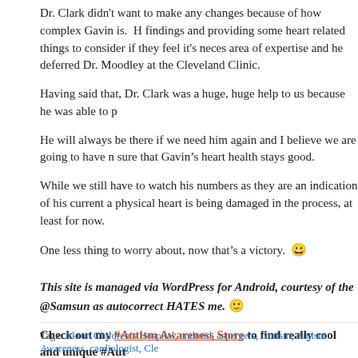Dr. Clark didn't want to make any changes because of how complex Gavin is. H findings and providing some heart related things to consider if they feel it's neces area of expertise and he deferred Dr. Moodley at the Cleveland Clinic.
Having said that, Dr. Clark was a huge, huge help to us because he was able to p
He will always be there if we need him again and I believe we are going to have n sure that Gavin's heart health stays good.
While we still have to watch his numbers as they are an indication of his current a physical heart is being damaged in the process, at least for now.
One less thing to worry about, now that's a victory. 😀
This site is managed via WordPress for Android, courtesy of the @Samsun as autocorrect HATES me. 🙂
Check out my #Autism Awareness Store to find really cool and unique #Aut
For more ways to help the Lost and Tired family, please visit Help the Los
[Figure (other): Empty textarea input box]
Tags: Akron Children's Hospital, android, aspergers, Autism, Autism Awareness, cardiologist, Cle